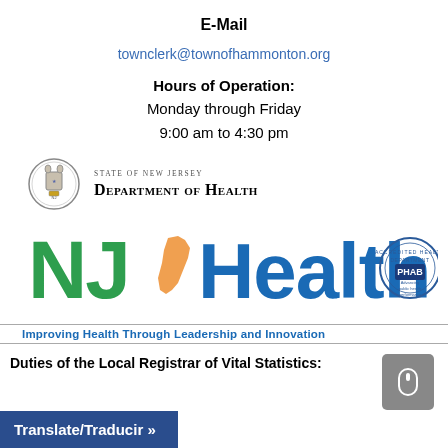E-Mail
townclerk@townofhammonton.org
Hours of Operation:
Monday through Friday
9:00 am to 4:30 pm
[Figure (logo): State of New Jersey Department of Health logo with NJ state seal and text]
[Figure (logo): NJ Health logo with green NJ letters, NJ state outline in orange, blue Health text, and PHAB accreditation seal]
Improving Health Through Leadership and Innovation
Duties of the Local Registrar of Vital Statistics:
Translate/Traducir »